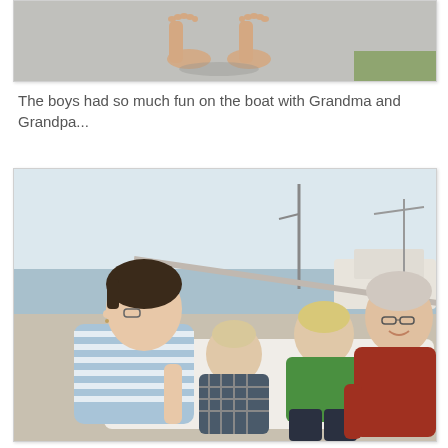[Figure (photo): Top portion of a photo showing bare feet/legs of a child standing on a light gray surface, cropped at top of page]
The boys had so much fun on the boat with Grandma and Grandpa...
[Figure (photo): Family photo on a boat at a marina. A woman with short dark hair in a blue and white striped shirt, a baby in a plaid outfit, a young boy in a green shirt, and an older man with glasses in a red shirt are sitting together. They appear to be looking out toward the water and docked boats in the background.]